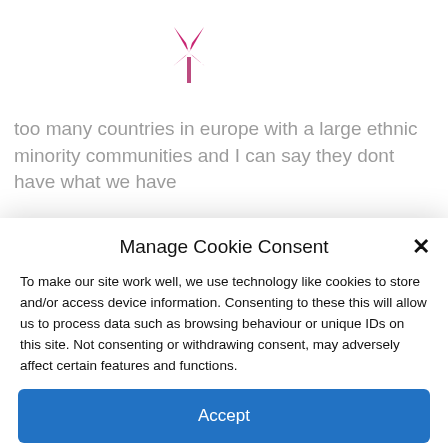[Figure (logo): Brixton Blog logo — pink/magenta rounded rectangle with windmill icon and white text reading 'Brixton Blog']
too many countries in europe with a large ethnic minority communities and I can say they dont have what we have
Manage Cookie Consent
To make our site work well, we use technology like cookies to store and/or access device information. Consenting to these this will allow us to process data such as browsing behaviour or unique IDs on this site. Not consenting or withdrawing consent, may adversely affect certain features and functions.
Accept
Deny
View preferences
Cookie Policy   Brixton Media privacy policy